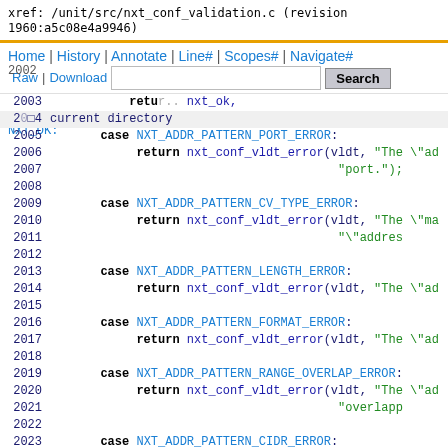xref: /unit/src/nxt_conf_validation.c (revision 1960:a5c08e4a9946)
Home | History | Annotate | Line# | Scopes# | Navigate#
Raw | Download    [search box]  Search   current directory
2002  case NXT_OK:
2003      return.. nxt_ok,
2004 current directory
2005      case NXT_ADDR_PATTERN_PORT_ERROR:
2006          return nxt_conf_vldt_error(vldt, "The \"ad
2007                                          "port.");
2008
2009      case NXT_ADDR_PATTERN_CV_TYPE_ERROR:
2010          return nxt_conf_vldt_error(vldt, "The \"ma
2011                                          "\"addres
2012
2013      case NXT_ADDR_PATTERN_LENGTH_ERROR:
2014          return nxt_conf_vldt_error(vldt, "The \"ad
2015
2016      case NXT_ADDR_PATTERN_FORMAT_ERROR:
2017          return nxt_conf_vldt_error(vldt, "The \"ad
2018
2019      case NXT_ADDR_PATTERN_RANGE_OVERLAP_ERROR:
2020          return nxt_conf_vldt_error(vldt, "The \"ad
2021                                          "overlapp
2022
2023      case NXT_ADDR_PATTERN_CIDR_ERROR:
2024          return nxt_conf_vldt_error(vldt, "The \"ad
2025                                          "prefix."
2026
2027      case NXT_ADDR_PATTERN_NO_IP_6_ERROR: